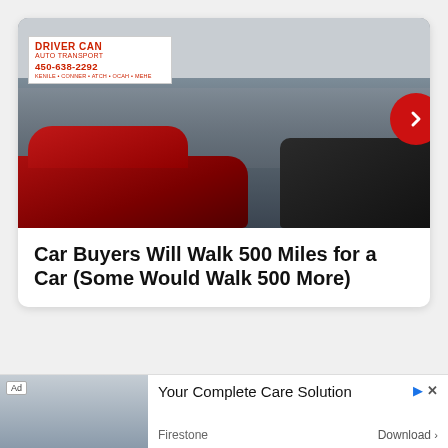[Figure (photo): Interior of a car auction or dealership with a large crowd of people standing around vehicles including a red sedan and a dark SUV. A banner reads 'DRIVER CAN AUTO TRANSPORT 450-638-2282' in red on white background. A red circular navigation arrow button is visible on the right side.]
Car Buyers Will Walk 500 Miles for a Car (Some Would Walk 500 More)
[Figure (screenshot): Advertisement banner at the bottom. Shows 'Ad' label, a photo of a Firestone store building on the left, and text 'Your Complete Care Solution' with Firestone branding and 'Download >' button on the right. Also has a play icon and X close icon.]